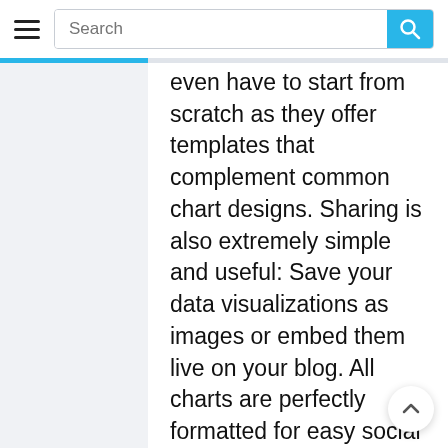Search
even have to start from scratch as they offer templates that complement common chart designs. Sharing is also extremely simple and useful: Save your data visualizations as images or embed them live on your blog. All charts are perfectly formatted for easy social media sharing.
You can create the following charts with their tool: Line, Smooth Line, Area,